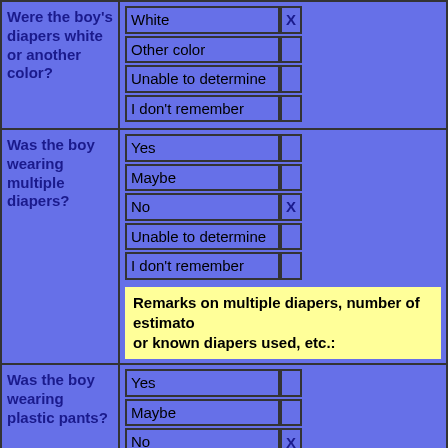| Were the boy's diapers white or another color? | White | X |
|  | Other color |  |
|  | Unable to determine |  |
|  | I don't remember |  |
| Was the boy wearing multiple diapers? | Yes |  |
|  | Maybe |  |
|  | No | X |
|  | Unable to determine |  |
|  | I don't remember |  |
Remarks on multiple diapers, number of estimated or known diapers used, etc.:
| Was the boy wearing plastic pants? | Yes |  |
|  | Maybe |  |
|  | No | X |
|  | Unable to determine |  |
|  | I don't remember |  |
Remarks on plastic pants: